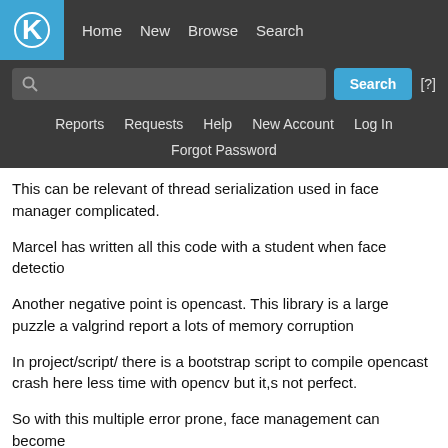[Figure (screenshot): KDE bug tracker navigation header with logo, nav links (Home, New, Browse, Search), search bar with Search button and [?] link, sub-navigation (Reports, Requests, Help, New Account, Log In), and Forgot Password link]
This can be relevant of thread serialization used in face manager complicated.
Marcel has written all this code with a student when face detectio
Another negative point is opencast. This library is a large puzzle a valgrind report a lots of memory corruption
In project/script/ there is a bootstrap script to compile opencast crash here less time with opencv but it,s not perfect.
So with this multiple error prone, face management can become